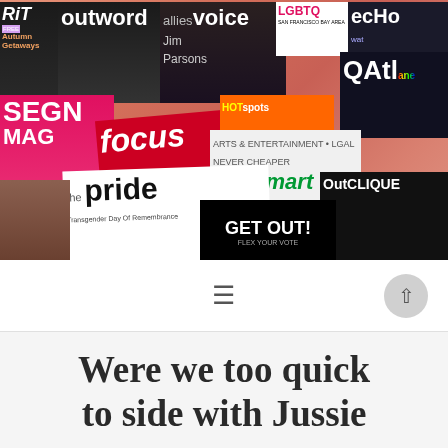[Figure (photo): Collage of LGBT magazine covers including outword, allies voice, LGBTQ, echo, SEGN, FOCUS, HotSpots, OutSmart, the pride, GET OUT!, OutClique, and others, displayed on a salmon/pink background.]
≡   «
Were we too quick to side with Jussie